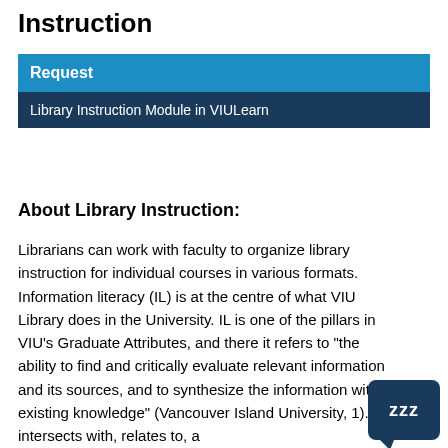Instruction
| Request |
| --- |
| Library Instruction Module in VIULearn |
About Library Instruction:
Librarians can work with faculty to organize library instruction for individual courses in various formats. Information literacy (IL) is at the centre of what VIU Library does in the University. IL is one of the pillars in VIU’s Graduate Attributes, and there it refers to “the ability to find and critically evaluate relevant information and its sources, and to synthesize the information with existing knowledge” (Vancouver Island University, 1). IL intersects with, relates to, and relies on many Library activities.